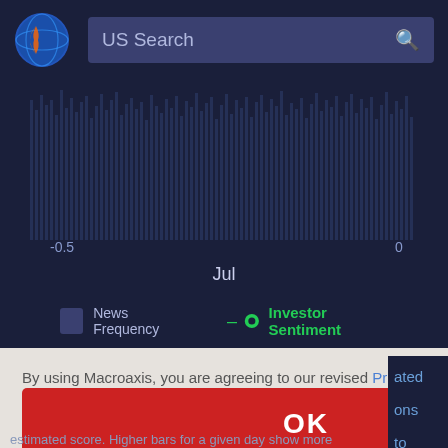[Figure (screenshot): Macroaxis website header with logo and US Search search box]
[Figure (continuous-plot): Bar chart showing news frequency and investor sentiment over time with x-axis label 'Jul' and range -0.5 to 0]
News Frequency   Investor Sentiment
By using Macroaxis, you are agreeing to our revised Privacy Policy
OK